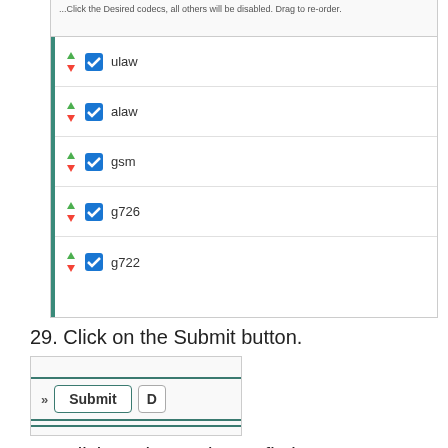[Figure (screenshot): Top clipped screenshot showing instruction text partially visible]
[Figure (screenshot): Codec list panel with checkboxes and drag icons for ulaw, alaw, gsm, g726, g722]
29. Click on the Submit button.
[Figure (screenshot): Screenshot showing Submit button with chevron icon and partially visible D button]
30. Click on the Apply Config button.
[Figure (screenshot): Partially visible Apply Config button screenshot at bottom]